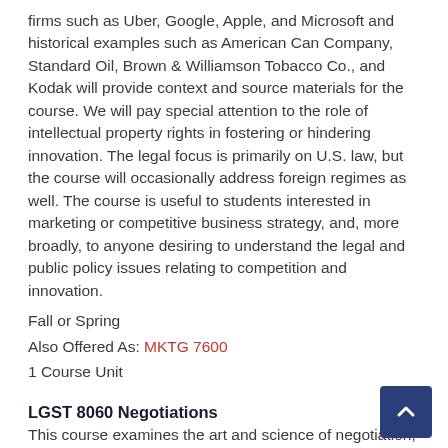firms such as Uber, Google, Apple, and Microsoft and historical examples such as American Can Company, Standard Oil, Brown & Williamson Tobacco Co., and Kodak will provide context and source materials for the course. We will pay special attention to the role of intellectual property rights in fostering or hindering innovation. The legal focus is primarily on U.S. law, but the course will occasionally address foreign regimes as well. The course is useful to students interested in marketing or competitive business strategy, and, more broadly, to anyone desiring to understand the legal and public policy issues relating to competition and innovation.
Fall or Spring
Also Offered As: MKTG 7600
1 Course Unit
LGST 8060 Negotiations
This course examines the art and science of negotiation, with additional emphasis on conflict resolution. Students